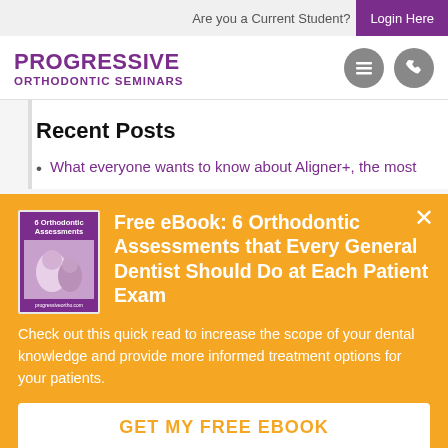Are you a Current Student?  Login Here
[Figure (logo): Progressive Orthodontic Seminars logo with menu and phone icons]
Recent Posts
What everyone wants to know about Aligner+, the most
[Figure (infographic): Orange overlay popup with ebook cover image and CTA. Title: Free eBook: 6 Orthodontic Assessments that Every General Dentist Should Do at Each Patient Exam. Body: Check out this quick read to increase the scope of your dental knowledge and provide more informed treatment options for your patients. Button: GET MY FREE EBOOK]